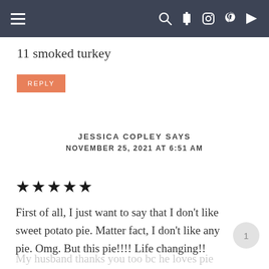≡   🔍 f 📷 p ▶
11 smoked turkey
REPLY
JESSICA COPLEY SAYS
NOVEMBER 25, 2021 AT 6:51 AM
★★★★★
First of all, I just want to say that I don't like sweet potato pie. Matter fact, I don't like any pie. Omg. But this pie!!!! Life changing!!
My husband thanks you too bc he loves pie